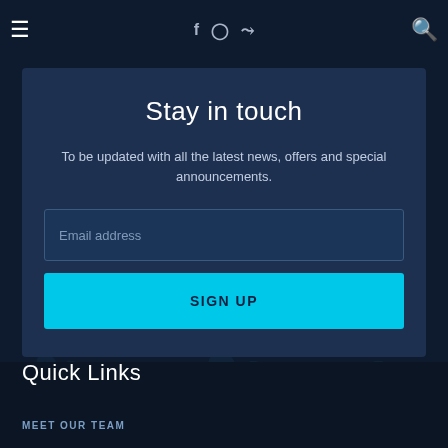☰  f  ig  🐦  🔍
Stay in touch
To be updated with all the latest news, offers and special announcements.
Email address
SIGN UP
Quick Links
MEET OUR TEAM